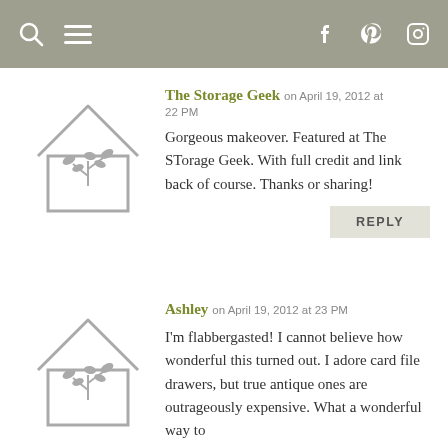Navigation bar with search, menu, Facebook, Pinterest, Instagram icons
The Storage Geek on April 19, 2012 at 22 PM
Gorgeous makeover. Featured at The STorage Geek. With full credit and link back of course. Thanks or sharing!
REPLY
Ashley on April 19, 2012 at 23 PM
I'm flabbergasted! I cannot believe how wonderful this turned out. I adore card file drawers, but true antique ones are outrageously expensive. What a wonderful way to